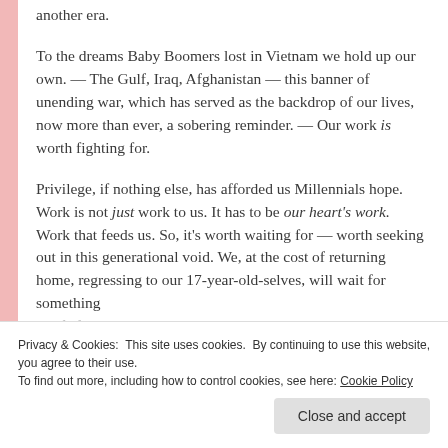another era.
To the dreams Baby Boomers lost in Vietnam we hold up our own. — The Gulf, Iraq, Afghanistan — this banner of unending war, which has served as the backdrop of our lives, now more than ever, a sobering reminder. — Our work is worth fighting for.
Privilege, if nothing else, has afforded us Millennials hope. Work is not just work to us. It has to be our heart's work. Work that feeds us. So, it's worth waiting for — worth seeking out in this generational void. We, at the cost of returning home, regressing to our 17-year-old-selves, will wait for something that fulfills an unmet need in us — in our world. Oh, and I
Privacy & Cookies: This site uses cookies. By continuing to use this website, you agree to their use.
To find out more, including how to control cookies, see here: Cookie Policy
Close and accept